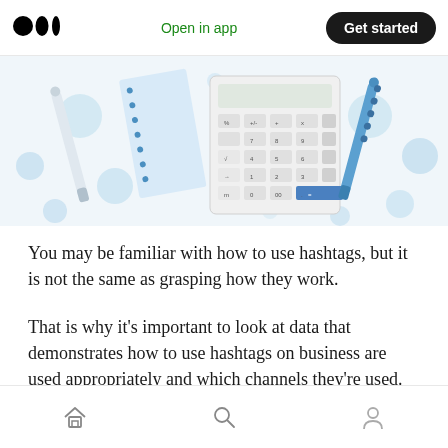Medium — Open in app | Get started
[Figure (photo): Overhead photo of a white calculator, a white pen, a blue pen, and scattered blue dot decorations on a white surface]
You may be familiar with how to use hashtags, but it is not the same as grasping how they work.
That is why it's important to look at data that demonstrates how to use hashtags on business are used appropriately and which channels they're used.
Home | Search | Profile